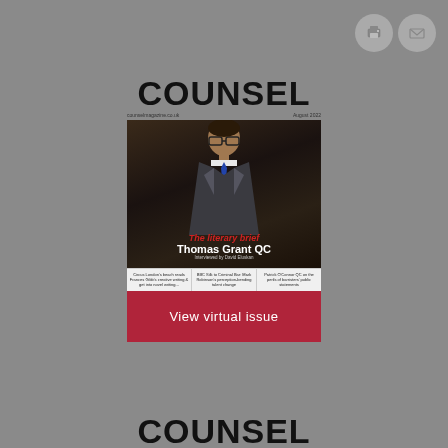[Figure (other): Two circular icon buttons (print and email) in the top-right corner on grey background]
COUNSEL
counselmagazine.co.uk    August 2022
[Figure (photo): Magazine cover of Counsel showing Thomas Grant QC in a suit and glasses against a dark background, with text 'The literary brief Thomas Grant QC Interviewed by David Eluskan']
Circus London's beach reads Frances Gibb's creative writing & get into novel writing...
BBC Silk to Criminal Bar: Mark Robinson's perception-bending talent change
Patrick O'Connor QC on the perils of barristers' public statements
View virtual issue
COUNSEL